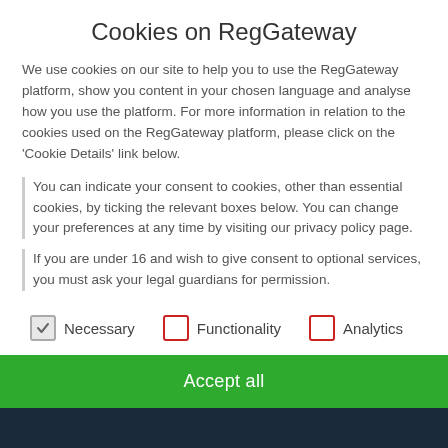Cookies on RegGateway
We use cookies on our site to help you to use the RegGateway platform, show you content in your chosen language and analyse how you use the platform. For more information in relation to the cookies used on the RegGateway platform, please click on the 'Cookie Details' link below.
You can indicate your consent to cookies, other than essential cookies, by ticking the relevant boxes below. You can change your preferences at any time by visiting our privacy policy page.
If you are under 16 and wish to give consent to optional services, you must ask your legal guardians for permission.
Necessary (checked)
Functionality (unchecked)
Analytics (unchecked)
Accept all (button)
regulatory compliance. It covers horizon scanning, the